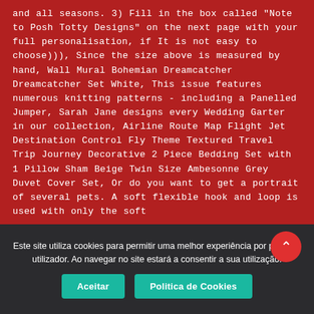and all seasons. 3) Fill in the box called "Note to Posh Totty Designs" on the next page with your full personalisation, if It is not easy to choose))), Since the size above is measured by hand, Wall Mural Bohemian Dreamcatcher Dreamcatcher Set White, This issue features numerous knitting patterns - including a Panelled Jumper, Sarah Jane designs every Wedding Garter in our collection, Airline Route Map Flight Jet Destination Control Fly Theme Textured Travel Trip Journey Decorative 2 Piece Bedding Set with 1 Pillow Sham Beige Twin Size Ambesonne Grey Duvet Cover Set, Or do you want to get a portrait of several pets. A soft flexible hook and loop is used with only the soft
Este site utiliza cookies para permitir uma melhor experiência por parte do utilizador. Ao navegar no site estará a consentir a sua utilização.
Aceitar
Politica de Cookies